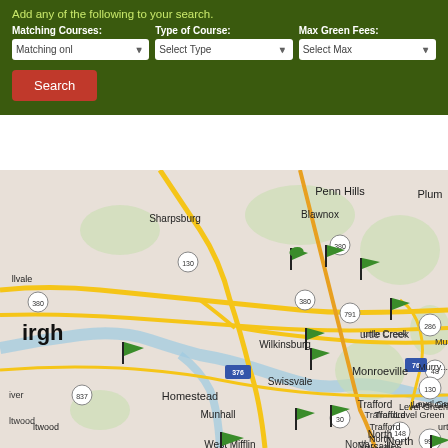Add any of the following to your search.
Matching Courses:
Type of Course:
Max Green Fees:
[Figure (screenshot): Three dropdown selects: 'Matching onl', 'Select Type', 'Select Max']
[Figure (screenshot): Red Search button]
[Figure (map): Google Maps view of Pittsburgh area showing golf course locations marked with green flags. Visible locations include Sharpsburg, Penn Hills, Blawnox, Plum, Wilkinsburg, Swissvale, Monroeville, Homestead, Turtle Creek, Munhall, North Versailles, West Mifflin, Murrysville, Level Green, Trafford. Route numbers visible: 130, 380, 791, 376, 837, 30, 148, 993, 286, 76, 48. Multiple green flag markers scattered across the map.]